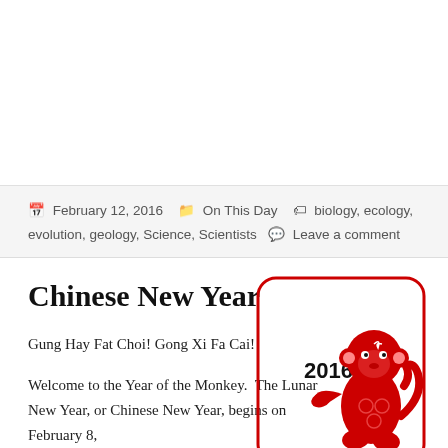February 12, 2016  On This Day  biology, ecology, evolution, geology, Science, Scientists  Leave a comment
Chinese New Year
[Figure (illustration): Red paper-cut style monkey illustration in a rounded square border, with '2016' text, representing the Chinese Year of the Monkey]
Gung Hay Fat Choi! Gong Xi Fa Cai!
Welcome to the Year of the Monkey.  The Lunar New Year, or Chinese New Year, begins on February 8, according to the Gregorian Calendar in 2016.